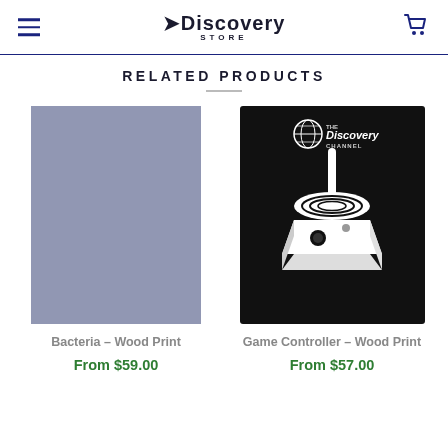Discovery Store
RELATED PRODUCTS
[Figure (photo): Solid gray-blue rectangle representing Bacteria Wood Print product image placeholder]
Bacteria – Wood Print
From $59.00
[Figure (photo): Black square image showing white graphic of a retro joystick game controller with The Discovery Channel logo above it]
Game Controller – Wood Print
From $57.00